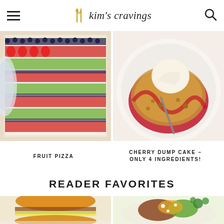Kim's Cravings
[Figure (photo): Fruit pizza on a baking sheet with rows of strawberries, blueberries, and kiwi slices arranged decoratively]
[Figure (photo): Cherry dump cake on a white plate topped with a scoop of vanilla ice cream, with crumble topping and cherry sauce]
FRUIT PIZZA
CHERRY DUMP CAKE – ONLY 4 INGREDIENTS!
READER FAVORITES
[Figure (photo): Hamburger or sandwich on a plate, partially visible at bottom of page]
[Figure (photo): Bowl with taco or salad ingredients including avocado, meat, and herbs, partially visible at bottom of page]